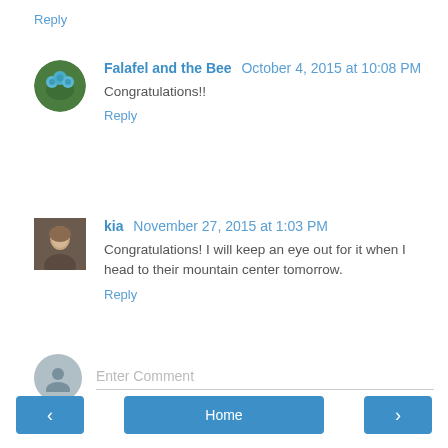Reply
Falafel and the Bee  October 4, 2015 at 10:08 PM
Congratulations!!
Reply
kia  November 27, 2015 at 1:03 PM
Congratulations! I will keep an eye out for it when I head to their mountain center tomorrow.
Reply
Enter Comment
< Home >